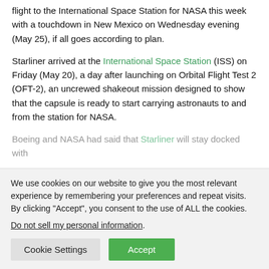flight to the International Space Station for NASA this week with a touchdown in New Mexico on Wednesday evening (May 25), if all goes according to plan.
Starliner arrived at the International Space Station (ISS) on Friday (May 20), a day after launching on Orbital Flight Test 2 (OFT-2), an uncrewed shakeout mission designed to show that the capsule is ready to start carrying astronauts to and from the station for NASA.
Boeing and NASA had said that Starliner will stay docked with
We use cookies on our website to give you the most relevant experience by remembering your preferences and repeat visits. By clicking “Accept”, you consent to the use of ALL the cookies.
Do not sell my personal information.
Cookie Settings
Accept